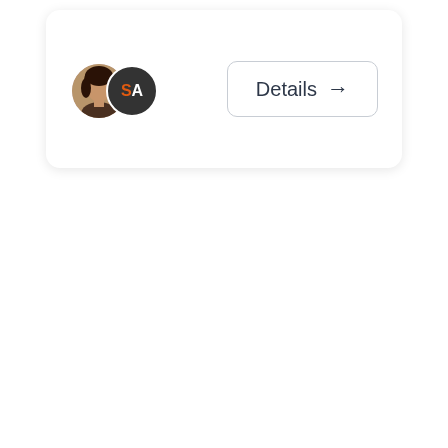[Figure (screenshot): A UI card component with two overlapping circular avatars on the left (one showing a person photo, one showing initials 'SA' in orange and white on dark background) and a 'Details →' button on the right with a rounded rectangle border.]